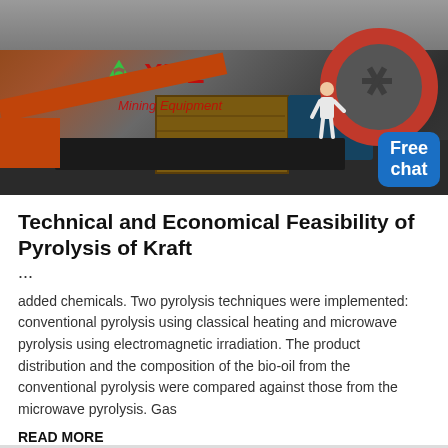[Figure (photo): Industrial mining machinery (sand washing machine or similar) with orange/rust-colored arm, large red-rimmed wheel on the right, blue motor, brown equipment box, gravel background. XME Mining Equipment logo overlaid in red text with green recycling icon. A 'Free chat' blue button with a person figure in the bottom-right corner.]
Technical and Economical Feasibility of Pyrolysis of Kraft ...
added chemicals. Two pyrolysis techniques were implemented: conventional pyrolysis using classical heating and microwave pyrolysis using electromagnetic irradiation. The product distribution and the composition of the bio-oil from the conventional pyrolysis were compared against those from the microwave pyrolysis. Gas
READ MORE